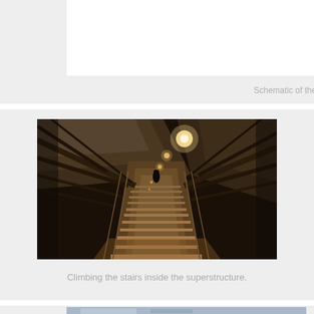Schematic of the McMath-Pierce Solar Telescop
[Figure (photo): Interior photograph looking down a stairway inside the superstructure of the McMath-Pierce Solar Telescope. The image shows a dark, industrial interior with diagonal structural beams, a row of lights along the ceiling/walkway, and stairs descending into the distance.]
Climbing the stairs inside the superstructure.
[Figure (photo): Partial view of another photograph at the bottom of the page, showing what appears to be a blue-tinted exterior or technical component of the telescope.]